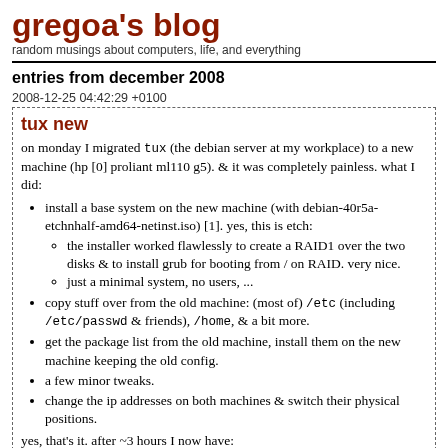gregoa's blog
random musings about computers, life, and everything
entries from december 2008
2008-12-25 04:42:29 +0100
tux new
on monday I migrated tux (the debian server at my workplace) to a new machine (hp [0] proliant ml110 g5). & it was completely painless. what I did:
install a base system on the new machine (with debian-40r5a-etchnhalf-amd64-netinst.iso) [1]. yes, this is etch:
the installer worked flawlessly to create a RAID1 over the two disks & to install grub for booting from / on RAID. very nice.
just a minimal system, no users, ...
copy stuff over from the old machine: (most of) /etc (including /etc/passwd & friends), /home, & a bit more.
get the package list from the old machine, install them on the new machine keeping the old config.
a few minor tweaks.
change the ip addresses on both machines & switch their physical positions.
yes, that's it. after ~3 hours I now have:
my first dual-core machine
my first amd64 system